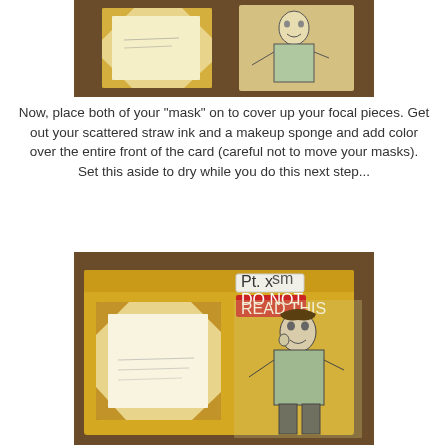[Figure (photo): Photo showing two crafted items on a wooden surface: a yellowed/burned-looking white card on the left and a black-and-white illustrated character figure on the right]
Now, place both of your "mask" on to cover up your focal pieces. Get out your scattered straw ink and a makeup sponge and add color over the entire front of the card (careful not to move your masks). Set this aside to dry while you do this next step...
[Figure (photo): Photo showing a yellow file folder on a wooden surface with a white card inside it (with burned/yellowed edges), a red 'DO NOT READ THIS' stamp label, text 'Pt. x' written at top, and a black-and-white illustrated character on the right side of the folder]